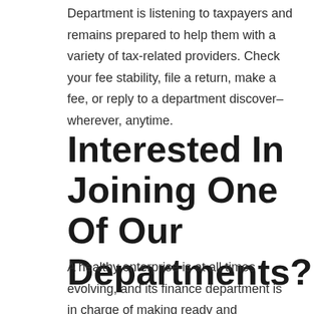Department is listening to taxpayers and remains prepared to help them with a variety of tax-related providers. Check your fee stability, file a return, make a fee, or reply to a department discover–wherever, anytime.
Interested In Joining One Of Our Departments?
A healthy enterprise is at all times evolving, and its finance department is in charge of making ready and evaluating budgets that tack...